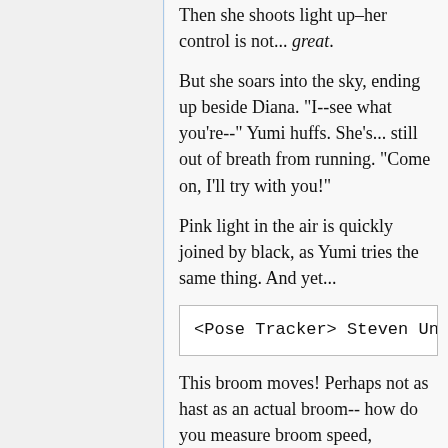Then she shoots light up–her control is not... great.
But she soars into the sky, ending up beside Diana. "I--see what you're--" Yumi huffs. She's... still out of breath from running. "Come on, I'll try with you!"
Pink light in the air is quickly joined by black, as Yumi tries the same thing. And yet...
<Pose Tracker> Steven Universe
This broom moves! Perhaps not as hast as an actual broom-- how do you measure broom speed, anyway?! "Look out!" he calls along with Sucy as they nearly run Akko over. "Sorry!" he calls back. Not that he is driving. The Dragon feeds on the powers used against it, and only grows more powerful. Another